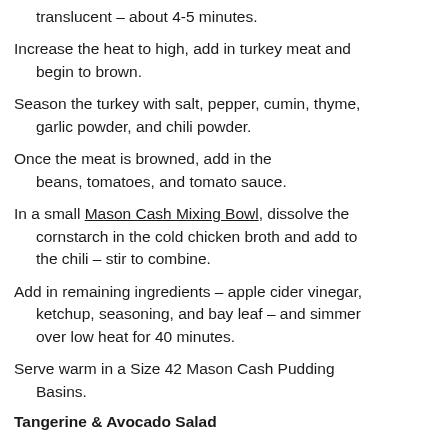translucent – about 4-5 minutes.
Increase the heat to high, add in turkey meat and begin to brown.
Season the turkey with salt, pepper, cumin, thyme, garlic powder, and chili powder.
Once the meat is browned, add in the beans, tomatoes, and tomato sauce.
In a small Mason Cash Mixing Bowl, dissolve the cornstarch in the cold chicken broth and add to the chili – stir to combine.
Add in remaining ingredients – apple cider vinegar, ketchup, seasoning, and bay leaf – and simmer over low heat for 40 minutes.
Serve warm in a Size 42 Mason Cash Pudding Basins.
Tangerine & Avocado Salad